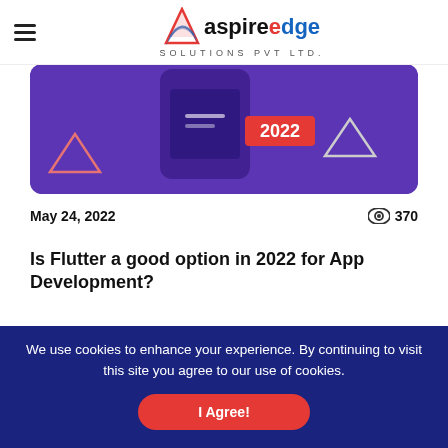AspireEdge Solutions Pvt Ltd.
[Figure (illustration): Hero image with purple background showing a phone and geometric triangle shapes with '2022' text badge]
May 24, 2022   👁 370
Is Flutter a good option in 2022 for App Development?
Quick Summary- It is ok to be in an ambiguous situation where you are confused if you should choose the Flutter framework for your business or
We use cookies to enhance your experience. By continuing to visit this site you agree to our use of cookies.
I Agree!